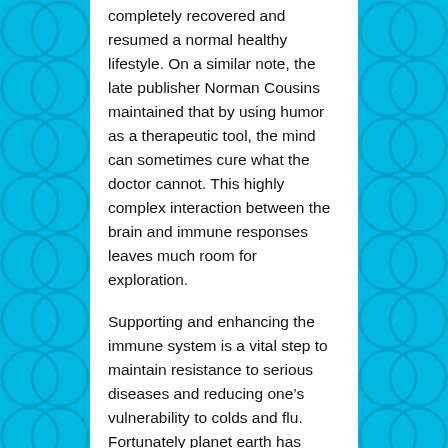completely recovered and resumed a normal healthy lifestyle. On a similar note, the late publisher Norman Cousins maintained that by using humor as a therapeutic tool, the mind can sometimes cure what the doctor cannot. This highly complex interaction between the brain and immune responses leaves much room for exploration.
Supporting and enhancing the immune system is a vital step to maintain resistance to serious diseases and reducing one's vulnerability to colds and flu. Fortunately planet earth has provided us with a huge array of substances to choose from to fortify, nourish and heal ourselves. There is an endless